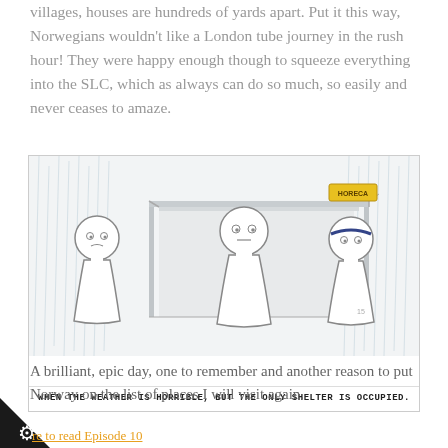villages, houses are hundreds of yards apart. Put it this way, Norwegians wouldn't like a London tube journey in the rush hour! They were happy enough though to squeeze everything into the SLC, which as always can do so much, so easily and never ceases to amaze.
[Figure (illustration): Cartoon illustration showing three simple stick-figure-like characters in the rain. The middle character stands inside a bus shelter/covered area, while the two outer characters stand in the rain outside. There is a yellow sign on the shelter. Caption reads: WHEN THE WEATHER IS HORRIBLE, BUT THE ONLY SHELTER IS OCCUPIED.]
WHEN THE WEATHER IS HORRIBLE, BUT THE ONLY SHELTER IS OCCUPIED.
A brilliant, epic day, one to remember and another reason to put Norway on the list of places I will visit again.
re to read Episode 10